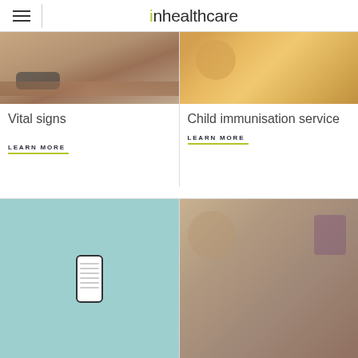inhealthcare
[Figure (photo): Close-up photo of a blood pressure cuff on a person's arm]
Vital signs
LEARN MORE
[Figure (photo): Photo of a smiling child in a classroom setting]
Child immunisation service
LEARN MORE
[Figure (photo): Smartphone displaying a text message on a teal background]
[Figure (photo): Healthcare professional checking a patient's blood pressure while looking at a phone]